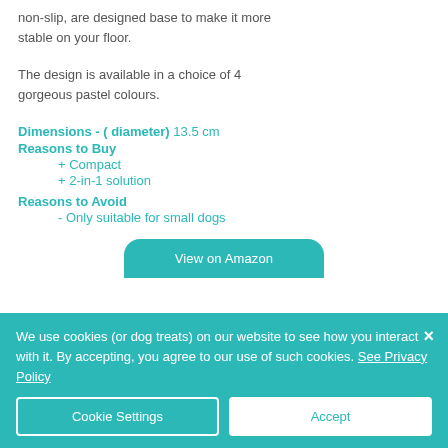non-slip, are designed base to make it more stable on your floor.
The design is available in a choice of 4 gorgeous pastel colours.
Dimensions - ( diameter) 13.5 cm
Reasons to Buy
+ Compact
+ 2-in-1 solution
Reasons to Avoid
- Only suitable for small dogs
View on Amazon
We use cookies (or dog treats) on our website to see how you interact with it. By accepting, you agree to our use of such cookies. See Privacy Policy
Cookie Settings
Accept